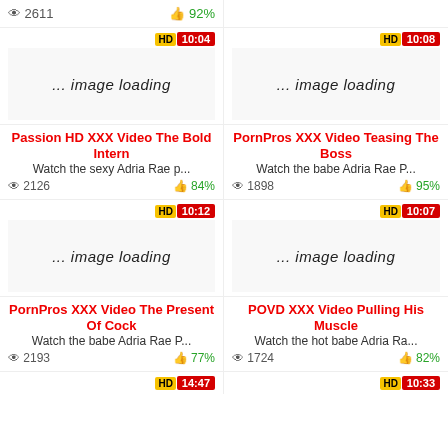2611  92%
[Figure (screenshot): Video thumbnail placeholder showing HD badge 10:04 and image loading text]
[Figure (screenshot): Video thumbnail placeholder showing HD badge 10:08 and image loading text]
Passion HD XXX Video The Bold Intern
Watch the sexy Adria Rae p...
2126  84%
PornPros XXX Video Teasing The Boss
Watch the babe Adria Rae P...
1898  95%
[Figure (screenshot): Video thumbnail placeholder showing HD badge 10:12 and image loading text]
[Figure (screenshot): Video thumbnail placeholder showing HD badge 10:07 and image loading text]
PornPros XXX Video The Present Of Cock
Watch the babe Adria Rae P...
2193  77%
POVD XXX Video Pulling His Muscle
Watch the hot babe Adria Ra...
1724  82%
[Figure (screenshot): HD badge partially visible, time 14:47]
[Figure (screenshot): HD badge partially visible, time shown]